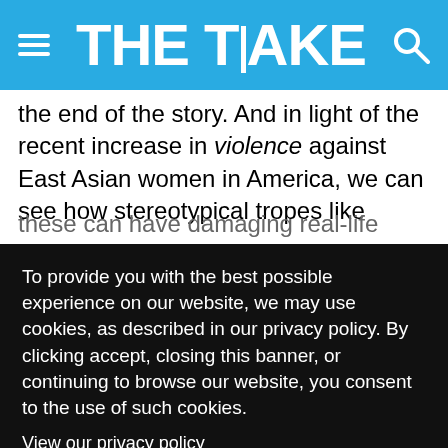THE TAKE
the end of the story. And in light of the recent increase in violence against East Asian women in America, we can see how stereotypical tropes like these can have damaging real-life consequences.
To provide you with the best possible experience on our website, we may use cookies, as described in our privacy policy. By clicking accept, closing this banner, or continuing to browse our website, you consent to the use of such cookies.
View our privacy policy
Accept and close
She's in control of her sexuality, using it as she chooses. Some elements of the Dragon Lady trope